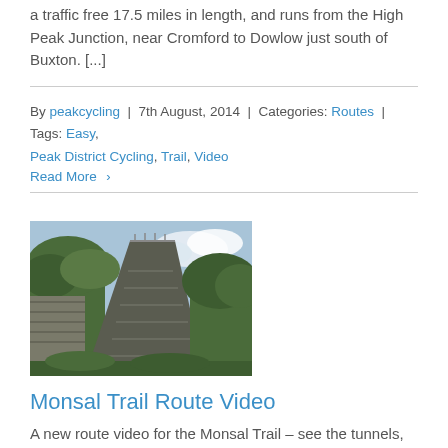a traffic free 17.5 miles in length, and runs from the High Peak Junction, near Cromford to Dowlow just south of Buxton. [...]
By peakcycling | 7th August, 2014 | Categories: Routes | Tags: Easy, Peak District Cycling, Trail, Video
Read More ›
[Figure (photo): Lime kilns structure overgrown with ivy and vegetation, concrete stepped architectural structure against a partly cloudy sky]
Monsal Trail Route Video
A new route video for the Monsal Trail – see the tunnels, the views, the stations, and the Lime Kilns from this popular Peak District trail. [...]